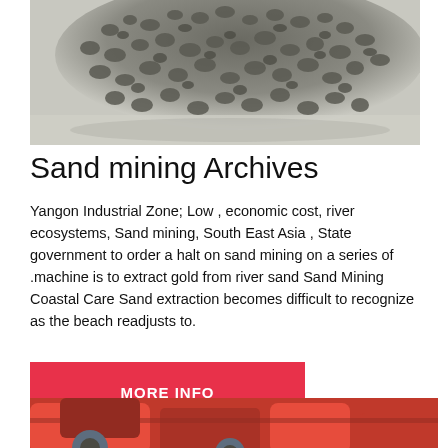[Figure (photo): Close-up photograph of a pile of grey gravel/sand aggregate material on a light grey background]
Sand mining Archives
Yangon Industrial Zone; Low , economic cost, river ecosystems, Sand mining, South East Asia , State government to order a halt on sand mining on a series of .machine is to extract gold from river sand Sand Mining Coastal Care Sand extraction becomes difficult to recognize as the beach readjusts to.
[Figure (other): Red/pink button with bold white text reading MORE INFO]
[Figure (photo): Close-up photograph of red industrial mining machinery parts]